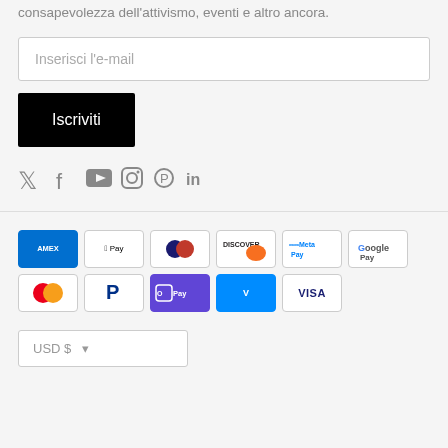consapevolezza dell'attivismo, eventi e altro ancora.
Inserisci l'e-mail
Iscriviti
[Figure (infographic): Social media icons: Twitter, Facebook, YouTube, Instagram, Pinterest, LinkedIn]
[Figure (infographic): Payment method badges: American Express, Apple Pay, Diners Club, Discover, Meta Pay, Google Pay, Mastercard, PayPal, Shop Pay, Venmo, Visa]
USD $